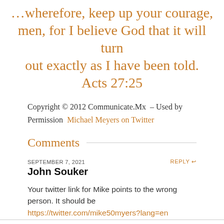…wherefore, keep up your courage, men, for I believe God that it will turn out exactly as I have been told. Acts 27:25
Copyright © 2012 Communicate.Mx – Used by Permission Michael Meyers on Twitter
Comments
SEPTEMBER 7, 2021
REPLY ↩
John Souker
Your twitter link for Mike points to the wrong person. It should be https://twitter.com/mike50myers?lang=en